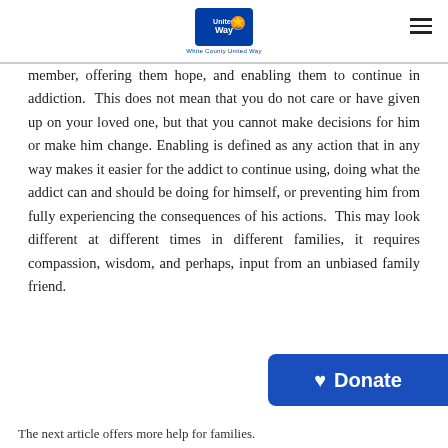White County United Way
member, offering them hope, and enabling them to continue in addiction. This does not mean that you do not care or have given up on your loved one, but that you cannot make decisions for him or make him change. Enabling is defined as any action that in any way makes it easier for the addict to continue using, doing what the addict can and should be doing for himself, or preventing him from fully experiencing the consequences of his actions. This may look different at different times in different families, it requires compassion, wisdom, and perhaps, input from an unbiased family friend.
The next article offers more help for families.